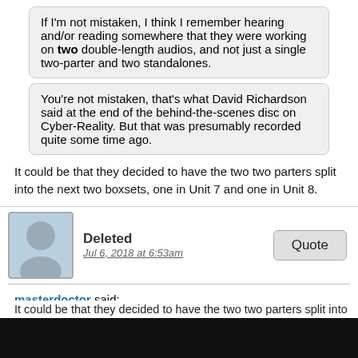If I'm not mistaken, I think I remember hearing and/or reading somewhere that they were working on two double-length audios, and not just a single two-parter and two standalones.
You're not mistaken, that's what David Richardson said at the end of the behind-the-scenes disc on Cyber-Reality. But that was presumably recorded quite some time ago.
It could be that they decided to have the two two parters split into the next two boxsets, one in Unit 7 and one in Unit 8.
Deleted
Jul 6, 2018 at 6:53am
masterdoctor said:
OneTen said:
You're not mistaken, that's what David Richardson said at the end of the behind-the-scenes disc on Cyber-Reality. But that was presumably recorded quite some time ago.
It could be that they decided to have the two two parters split into